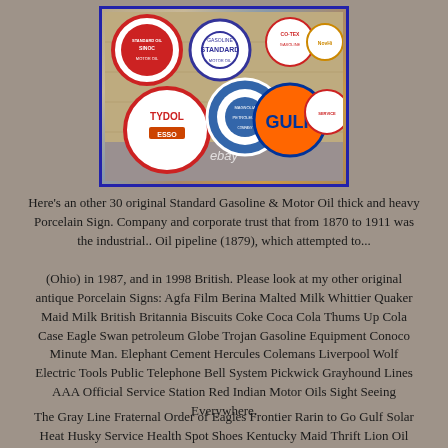[Figure (photo): Collection of vintage circular porcelain gasoline and motor oil signs leaning against a wooden wall. Signs visible include Tydol, Gulf (orange), Standard, and others. eBay watermark visible.]
Here's an other 30 original Standard Gasoline & Motor Oil thick and heavy Porcelain Sign. Company and corporate trust that from 1870 to 1911 was the industrial.. Oil pipeline (1879), which attempted to...
(Ohio) in 1987, and in 1998 British. Please look at my other original antique Porcelain Signs: Agfa Film Berina Malted Milk Whittier Quaker Maid Milk British Britannia Biscuits Coke Coca Cola Thums Up Cola Case Eagle Swan petroleum Globe Trojan Gasoline Equipment Conoco Minute Man. Elephant Cement Hercules Colemans Liverpool Wolf Electric Tools Public Telephone Bell System Pickwick Grayhound Lines AAA Official Service Station Red Indian Motor Oils Sight Seeing Everywhere.
The Gray Line Fraternal Order of Eagles Frontier Rarin to Go Gulf Solar Heat Husky Service Health Spot Shoes Kentucky Maid Thrift Lion Oil